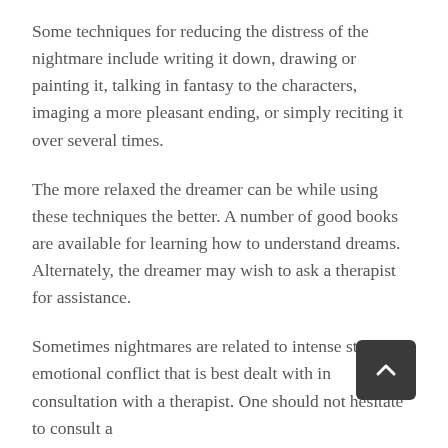Some techniques for reducing the distress of the nightmare include writing it down, drawing or painting it, talking in fantasy to the characters, imaging a more pleasant ending, or simply reciting it over several times.
The more relaxed the dreamer can be while using these techniques the better. A number of good books are available for learning how to understand dreams. Alternately, the dreamer may wish to ask a therapist for assistance.
Sometimes nightmares are related to intense stress or emotional conflict that is best dealt with in consultation with a therapist. One should not hesitate to consult a